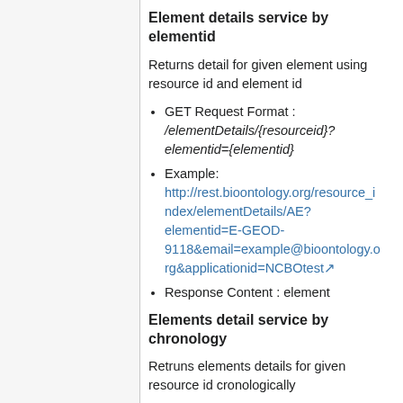Element details service by elementid
Returns detail for given element using resource id and element id
GET Request Format : /elementDetails/{resourceid}?elementid={elementid}
Example: http://rest.bioontology.org/resource_index/elementDetails/AE?elementid=E-GEOD-9118&email=example@bioontology.org&applicationid=NCBOtest
Response Content : element
Elements detail service by chronology
Retruns elements details for given resource id cronologically
GET Request Format :